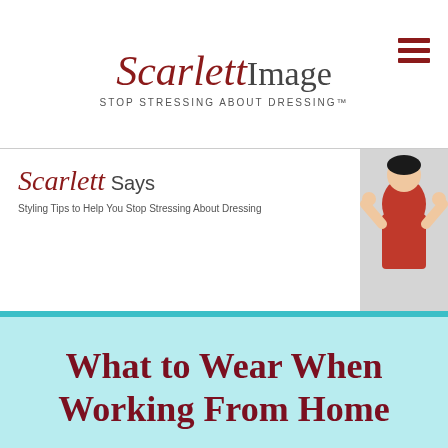Scarlett Image — STOP STRESSING ABOUT DRESSING
[Figure (illustration): Scarlett Says banner with script logo and woman shouting through hands]
Styling Tips to Help You Stop Stressing About Dressing
What to Wear When Working From Home